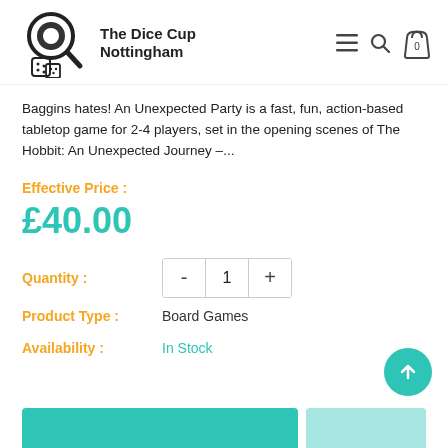The Dice Cup Nottingham
Baggins hates! An Unexpected Party is a fast, fun, action-based tabletop game for 2-4 players, set in the opening scenes of The Hobbit: An Unexpected Journey –...
Effective Price :
£40.00
Quantity :
Product Type :
Board Games
Availability :
In Stock